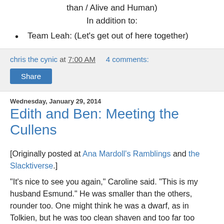than / Alive and Human)
In addition to:
Team Leah: (Let's get out of here together)
chris the cynic at 7:00 AM   4 comments:
Share
Wednesday, January 29, 2014
Edith and Ben: Meeting the Cullens
[Originally posted at Ana Mardoll's Ramblings and the Slacktiverse.]
"It's nice to see you again," Caroline said. "This is my husband Esmund." He was smaller than the others, rounder too. One might think he was a dwarf, as in Tolkien, but he was too clean shaven and too far too inhumanly white for that.
"It's a pleasure to finally meet you," Esmund said. I responded